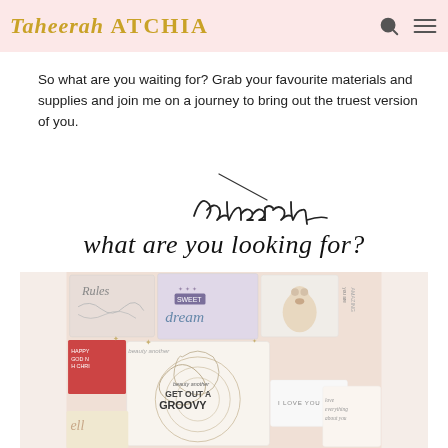Taheerah ATCHIA
So what are you waiting for? Grab your favourite materials and supplies and join me on a journey to bring out the truest version of you.
[Figure (illustration): Handwritten cursive signature reading 'Taheerah']
what are you looking for?
[Figure (photo): Collage of various craft/stamp cards and art pieces with text including 'Rules', 'dream', 'GET OUT A GROOVY', 'I LOVE YOU', and other decorative elements on a pink background]